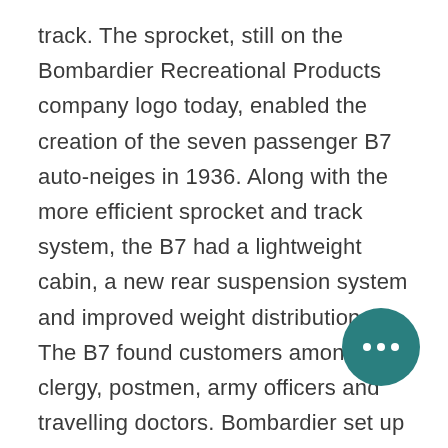track. The sprocket, still on the Bombardier Recreational Products company logo today, enabled the creation of the seven passenger B7 auto-neiges in 1936. Along with the more efficient sprocket and track system, the B7 had a lightweight cabin, a new rear suspension system and improved weight distribution. The B7 found customers among clergy, postmen, army officers and travelling doctors. Bombardier set up a new factory in his hometown in 1941 and the following year incorporated L'Auto-Neige Bombardier Limitée. Many of Bombardier's family members were major shareholders in the company. Family shaped Bombardier's operations for much of its history.
[Figure (other): Teal circular button with three white dots (ellipsis/more options button)]